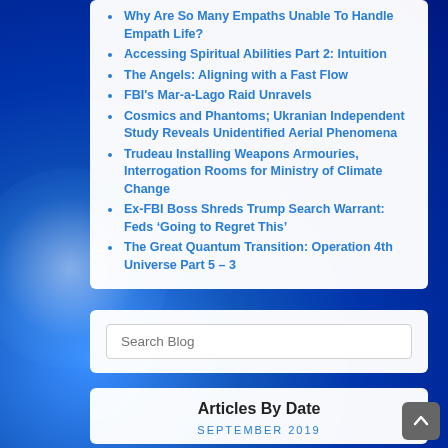Why Are So Many Empaths Unable To Handle Empath Life?
Accessing Spiritual Abilities Part 2: Intuition
The Angels: Aligning with a Fast Flow
FBI's Mar-a-Lago Raid Unravels
Cosmics and Phantoms; Ukranian Independent Study Reveals Unidentified Aerial Phenomena
Trudeau Installing Weapons Armouries, Interrogation Rooms for Ministry of Climate Change
Ex-FBI Boss Shreds Trump Search Warrant: Feds ‘Going to Regret This’
The Great Quantum Transition: Operation 4th Universe Part 5 – 3
Search Blog
Articles By Date
SEPTEMBER 2019